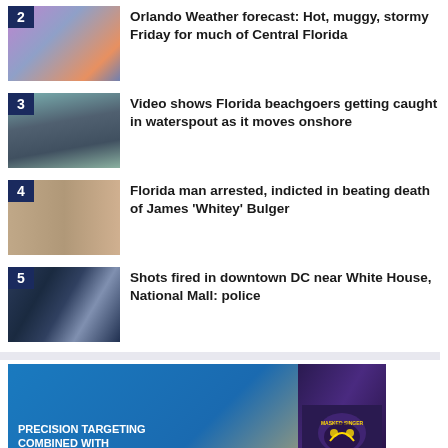2 Orlando Weather forecast: Hot, muggy, stormy Friday for much of Central Florida
3 Video shows Florida beachgoers getting caught in waterspout as it moves onshore
4 Florida man arrested, indicted in beating death of James 'Whitey' Bulger
5 Shots fired in downtown DC near White House, National Mall: police
[Figure (photo): Advertisement banner: PRECISION TARGETING COMBINED WITH PREMIUM VIDEO CONTENT. CONNECT WITH, featuring Masked Singer imagery]